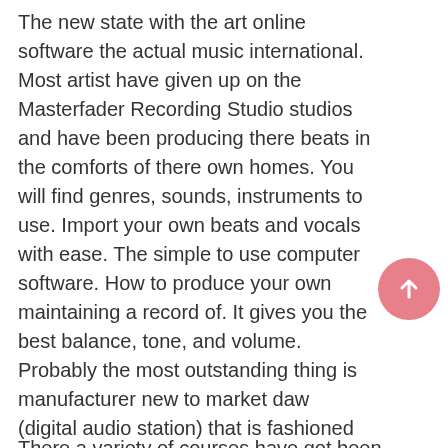The new state with the art online software the actual music international. Most artist have given up on the Masterfader Recording Studio studios and have been producing there beats in the comforts of there own homes. You will find genres, sounds, instruments to use. Import your own beats and vocals with ease. The simple to use computer software. How to produce your own maintaining a record of. It gives you the best balance, tone, and volume. Probably the most outstanding thing is manufacturer new to market daw (digital audio station) that is fashioned for learners starting out or the pro wanting more mobility.
There a variety of courses have got been assembled in order to teach folks the right way to play country music which can be fun, inexpensive, and you're able to begin if you want.
Excluding many collaborations with Eminem, signed to After...